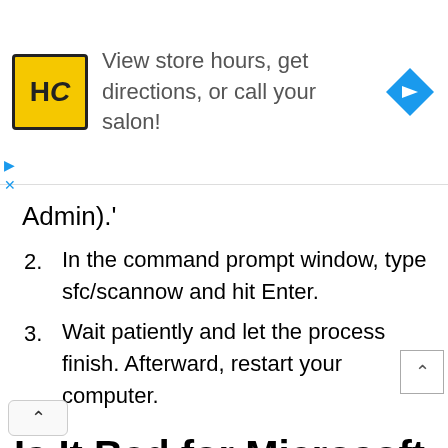[Figure (other): Advertisement banner for a hair salon directory. Shows HC logo in yellow square, text 'View store hours, get directions, or call your salon!', and a blue navigation/directions diamond icon.]
Admin).'
2. In the command prompt window, type sfc/scannow and hit Enter.
3. Wait patiently and let the process finish. Afterward, restart your computer.
Is It Bad for Microsoft to Track Your Windows Usage?
The discussion above must have left you with the thought if Microsoft is using or tracking your private data. Well, the sole use of CompatTelRunner.exe is to